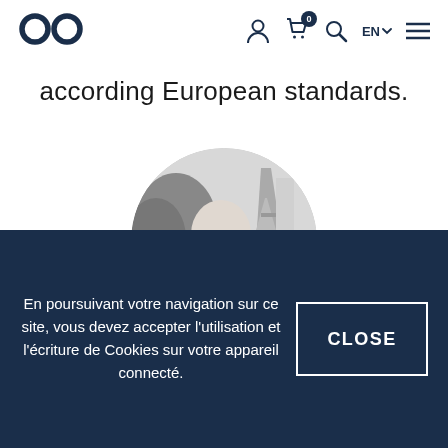CO logo, user icon, cart (0), search, EN, menu
according European standards.
[Figure (photo): Circular black-and-white photo of a bald man wearing glasses, with the Eiffel Tower and trees visible in the background.]
En poursuivant votre navigation sur ce site, vous devez accepter l'utilisation et l'écriture de Cookies sur votre appareil connecté.
CLOSE